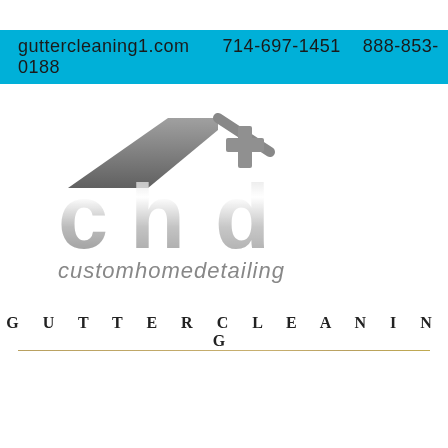guttercleaning1.com    714-697-1451    888-853-0188
[Figure (logo): Custom Home Detailing (chd+) logo with house roofline graphic above stylized 'chd' lettering and 'customhomedetailing' text below]
GUTTERCLEANING